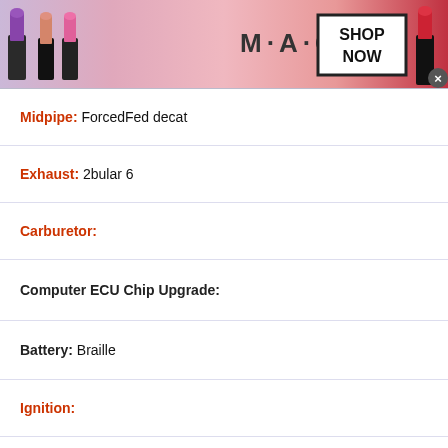[Figure (photo): MAC Cosmetics advertisement banner with lipsticks and SHOP NOW button, top]
Midpipe: ForcedFed decat
Exhaust: 2bular 6
Carburetor:
Computer ECU Chip Upgrade:
Battery: Braille
Ignition:
Spark Plugs:
Fuel Injectors:
[Figure (photo): MAC Cosmetics advertisement banner with lipsticks and SHOP NOW button, bottom]